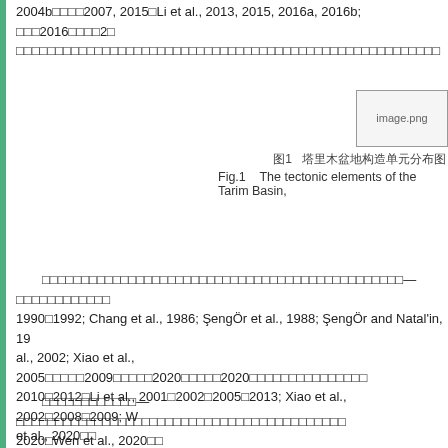2004b□□□□2007, 2015□Li et al., 2013, 2015, 2016a, 2016b; □□□2016□□□□2□□□□□□□□□□□□□□□□□□□□□□□□□□□□□□□□□□□□□□□□□□□□□□□□□□□□□□□□□□
[Figure (photo): image.png placeholder for figure of tectonic elements of Tarim Basin]
图1  塔里木盆地构造单元分布图
Fig.1   The tectonic elements of the Tarim Basin,
□□□□□□□□□□□□□□□□□□□□□□□□□□□□□□□□□□□□□□□□□□□□□□□□□□□□□—□□□□□□□□□□□□1990□1992; Chang et al., 1986; ŞengÖr et al., 1988; ŞengÖr and Natal'in, 19□al., 2002; Xiao et al., 2005□□□□□2009□□□□□2020□□□□□2020□□□□□□□□□□□□□□□2010□2012□Li et al., 2001□2002□2005□2013; Xiao et al., 2002□2008□2009; W et al., 2020□□
□□□□□□□□□□□□—□□□□□□□□□□□□□□□□□□□□□□□□□□□□□□□□□□□□□□□□□□2020□Wen et al., 2020□□